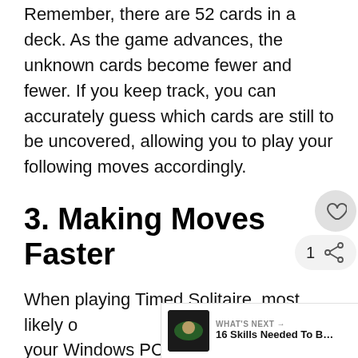Remember, there are 52 cards in a deck. As the game advances, the unknown cards become fewer and fewer. If you keep track, you can accurately guess which cards are still to be uncovered, allowing you to play your following moves accordingly.
3. Making Moves Faster
When playing Timed Solitaire, most likely on your Windows PC, making moves fast is everything when it comes to getting that high score. However, that doesn't mean you need to play rash.